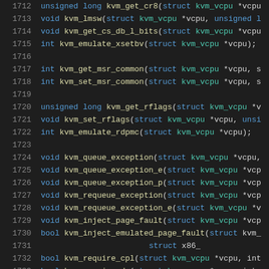1712   unsigned long kvm_get_cr8(struct kvm_vcpu *vcpu
1713   void kvm_lmsw(struct kvm_vcpu *vcpu, unsigned l
1714   void kvm_get_cs_db_l_bits(struct kvm_vcpu *vcpu
1715   int kvm_emulate_xsetbv(struct kvm_vcpu *vcpu);
1716
1717   int kvm_get_msr_common(struct kvm_vcpu *vcpu, s
1718   int kvm_set_msr_common(struct kvm_vcpu *vcpu, s
1719
1720   unsigned long kvm_get_rflags(struct kvm_vcpu *v
1721   void kvm_set_rflags(struct kvm_vcpu *vcpu, unsi
1722   int kvm_emulate_rdpmc(struct kvm_vcpu *vcpu);
1723
1724   void kvm_queue_exception(struct kvm_vcpu *vcpu,
1725   void kvm_queue_exception_e(struct kvm_vcpu *vcp
1726   void kvm_queue_exception_p(struct kvm_vcpu *vcp
1727   void kvm_requeue_exception(struct kvm_vcpu *vcp
1728   void kvm_requeue_exception_e(struct kvm_vcpu *v
1729   void kvm_inject_page_fault(struct kvm_vcpu *vcp
1730   bool kvm_inject_emulated_page_fault(struct kvm_
1731                                     struct x86_
1732   bool kvm_require_cpl(struct kvm_vcpu *vcpu, int
1733   bool kvm_require_dr(struct kvm_vcpu *vcpu, int